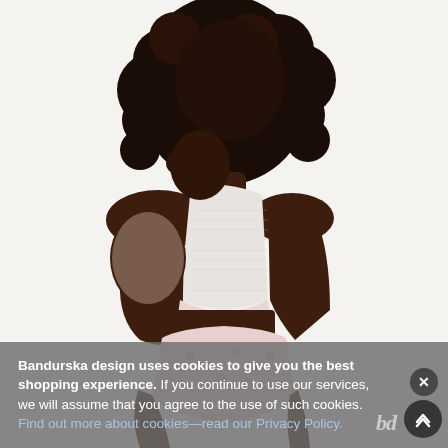[Figure (photo): A dark-skinned female model photographed from behind, wearing a white sheer mesh bralette/crop top and light pink floral lace underwear, with voluminous natural curly hair, against a white background.]
Bandurska design uses cookies to give you the best shopping experience. If you continue to use our services, we will assume that you agree to the use of such cookies. Find out more about cookies—read our Privacy Policy.